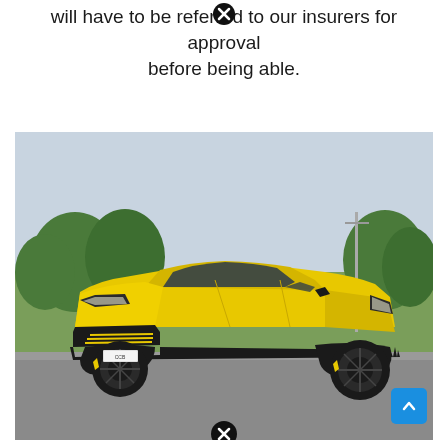will have to be referred to our insurers for approval before being able.
[Figure (photo): A yellow Lamborghini Urus SUV photographed from the front-left angle in an outdoor setting with trees and a clear sky in the background. The vehicle has black wheels, black trim details, and an aggressive front bumper design with yellow accent lines.]